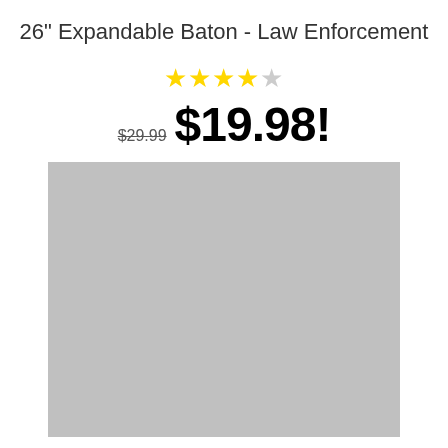26" Expandable Baton - Law Enforcement
★★★★☆ $29.99 $19.98!
[Figure (photo): Product image placeholder — light gray rectangle representing the 26" expandable baton product photo]